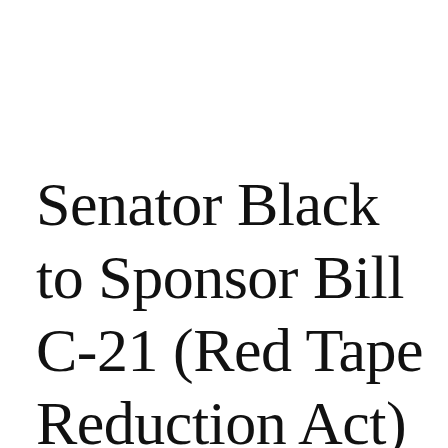Senator Black to Sponsor Bill C-21 (Red Tape Reduction Act) in Senate